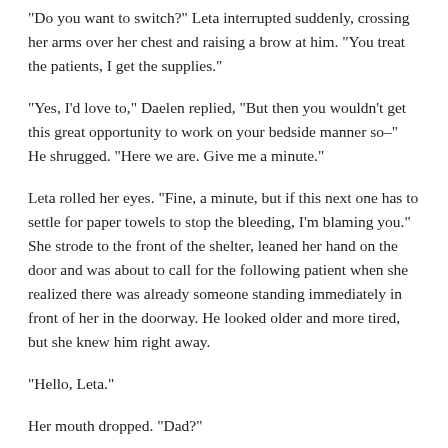“Do you want to switch?” Leta interrupted suddenly, crossing her arms over her chest and raising a brow at him. “You treat the patients, I get the supplies.”
“Yes, I’d love to,” Daelen replied, “But then you wouldn’t get this great opportunity to work on your bedside manner so–” He shrugged. “Here we are. Give me a minute.”
Leta rolled her eyes. “Fine, a minute, but if this next one has to settle for paper towels to stop the bleeding, I’m blaming you.” She strode to the front of the shelter, leaned her hand on the door and was about to call for the following patient when she realized there was already someone standing immediately in front of her in the doorway. He looked older and more tired, but she knew him right away.
“Hello, Leta.”
Her mouth dropped. “Dad?”